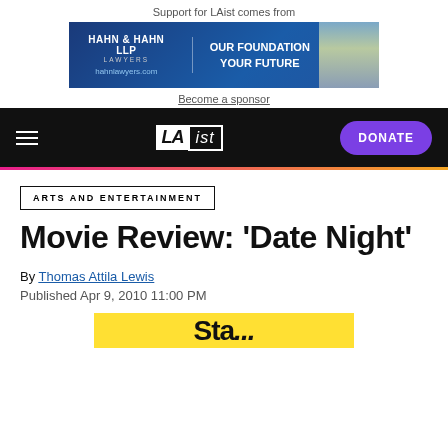Support for LAist comes from
[Figure (infographic): Hahn & Hahn LLP lawyers advertisement banner with blue gradient background, text: OUR FOUNDATION YOUR FUTURE, hahnlawyers.com]
Become a sponsor
LAist — navigation bar with hamburger menu, LAist logo, and DONATE button
ARTS AND ENTERTAINMENT
Movie Review: 'Date Night'
By Thomas Attila Lewis
Published Apr 9, 2010 11:00 PM